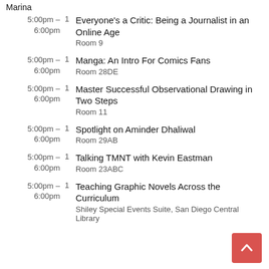Marina
5:00pm – 6:00pm | 1 | Everyone's a Critic: Being a Journalist in an Online Age | Room 9
5:00pm – 6:00pm | 1 | Manga: An Intro For Comics Fans | Room 28DE
5:00pm – 6:00pm | 1 | Master Successful Observational Drawing in Two Steps | Room 11
5:00pm – 6:00pm | 1 | Spotlight on Aminder Dhaliwal | Room 29AB
5:00pm – 6:00pm | 1 | Talking TMNT with Kevin Eastman | Room 23ABC
5:00pm – 6:00pm | 1 | Teaching Graphic Novels Across the Curriculum | Shiley Special Events Suite, San Diego Central Library